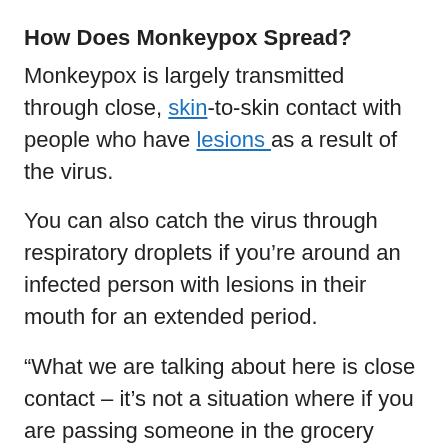How Does Monkeypox Spread?
Monkeypox is largely transmitted through close, skin-to-skin contact with people who have lesions as a result of the virus.
You can also catch the virus through respiratory droplets if you’re around an infected person with lesions in their mouth for an extended period.
“What we are talking about here is close contact – it’s not a situation where if you are passing someone in the grocery store, they’re going to be at risk for monkeypox,” says McQuiston.
To prevent the spread of the virus, it’s best to quarantine